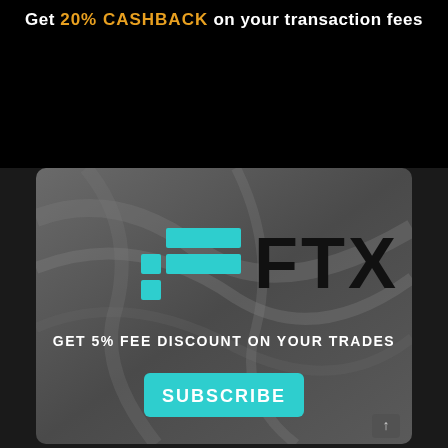Get 20% CASHBACK on your transaction fees
[Figure (logo): FTX cryptocurrency exchange logo with cyan geometric icon and bold FTX wordmark on dark textured background]
GET 5% FEE DISCOUNT ON YOUR TRADES
SUBSCRIBE